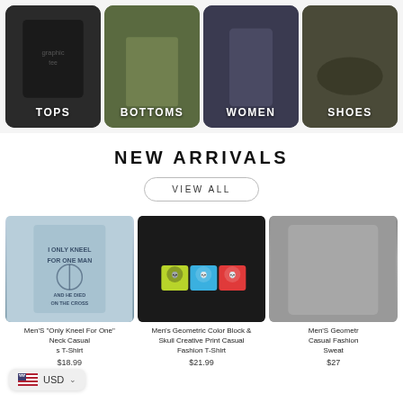[Figure (screenshot): Category navigation tiles: TOPS (man in black graphic tee), BOTTOMS (person in olive shorts), WOMEN (woman in dark outfit), SHOES (dark sneaker)]
NEW ARRIVALS
VIEW ALL
[Figure (photo): Man wearing blue sleeveless muscle shirt with 'I ONLY KNEEL FOR ONE MAN AND HE DIED ON THE CROSS' graphic]
Men'S "Only Kneel For One" Neck Casual s T-Shirt
$18.99
[Figure (photo): Man wearing black t-shirt with three colorful skull graphics in yellow, blue, and red]
Men's Geometric Color Block & Skull Creative Print Casual Fashion T-Shirt
$21.99
[Figure (photo): Man wearing grey sweatshirt casual fashion top]
Men'S Geometr Casual Fashion Sweat
$27
USD